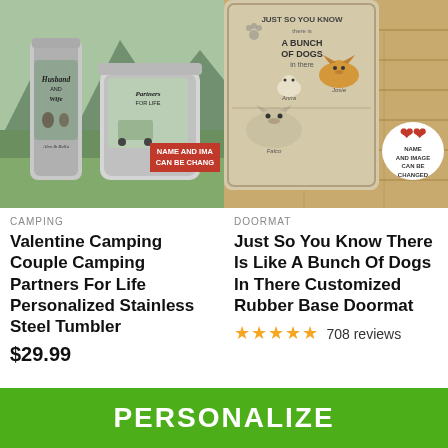[Figure (photo): Camping tumblers with 'Husband AND Wife' and 'Partners FOR LIFE' text, showing couple silhouettes, outdoor background. Red badge: NAME AND IMAGE CAN BE CHANGED]
CAMPING
Valentine Camping Couple Camping Partners For Life Personalized Stainless Steel Tumbler
$29.99
[Figure (photo): Doormat with illustrated dogs peeking - Corgi, cat, and two dogs, text 'JUST SO YOU KNOW there is A BUNCH OF DOGS in there' with paw print design. White badge: NAME AND IMAGE CAN BE CHANGED]
DOORMAT
Just So You Know There Is Like A Bunch Of Dogs In There Customized Rubber Base Doormat
★★★★★ 708 reviews
PERSONALIZE